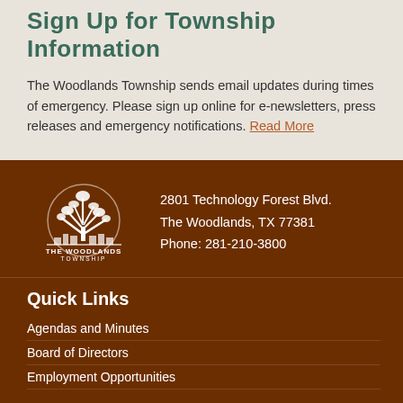Sign Up for Township Information
The Woodlands Township sends email updates during times of emergency. Please sign up online for e-newsletters, press releases and emergency notifications. Read More
[Figure (logo): The Woodlands Township logo — white tree and cityscape with text 'THE WOODLANDS TOWNSHIP' in a circular emblem]
2801 Technology Forest Blvd.
The Woodlands, TX 77381
Phone: 281-210-3800
Quick Links
Agendas and Minutes
Board of Directors
Employment Opportunities